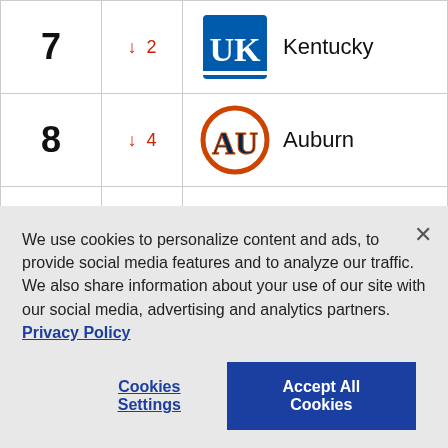| Rank | Change | Team |
| --- | --- | --- |
| 7 | ↓ 2 | Kentucky |
| 8 | ↓ 4 | Auburn |
| 9 | ↓ 2 | Duke |
| 10 | ↓ 1 | Purdue |
We use cookies to personalize content and ads, to provide social media features and to analyze our traffic. We also share information about your use of our site with our social media, advertising and analytics partners. Privacy Policy
Cookies Settings
Accept All Cookies